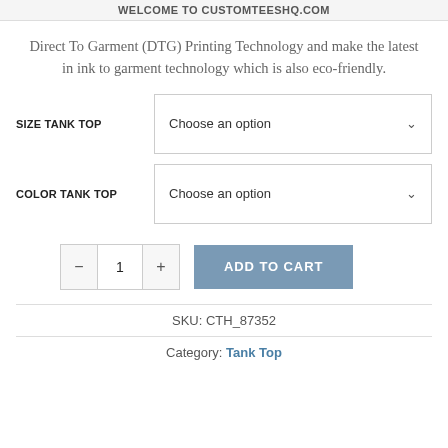WELCOME TO CUSTOMTEESHQ.COM
Direct To Garment (DTG) Printing Technology and make the latest in ink to garment technology which is also eco-friendly.
SIZE TANK TOP — Choose an option
COLOR TANK TOP — Choose an option
Quantity: 1 | ADD TO CART
SKU: CTH_87352
Category: Tank Top